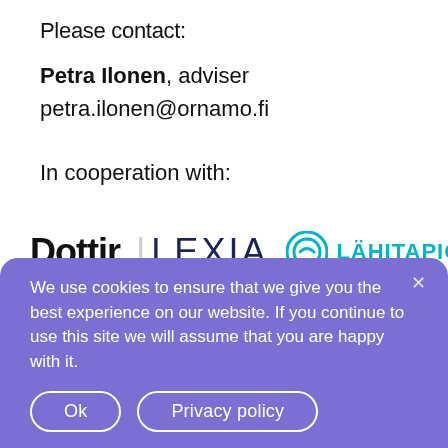Please contact:
Petra Ilonen, adviser
petra.ilonen@ornamo.fi
In cooperation with:
[Figure (logo): Logos of Dottir, LEXIA, and Lähitapiola displayed in a row]
We use cookies to ensure that we give you the best experience on our website. If you continue to use this site we will assume that you are happy with it.
Ok   Privacy policy